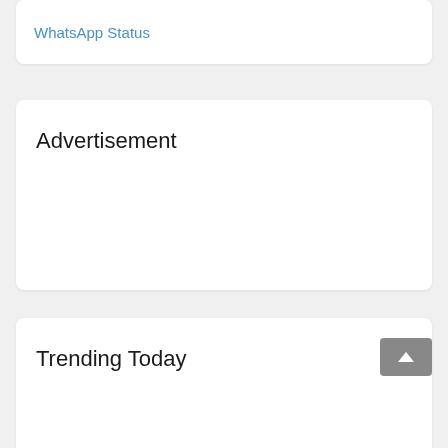WhatsApp Status
Advertisement
Trending Today